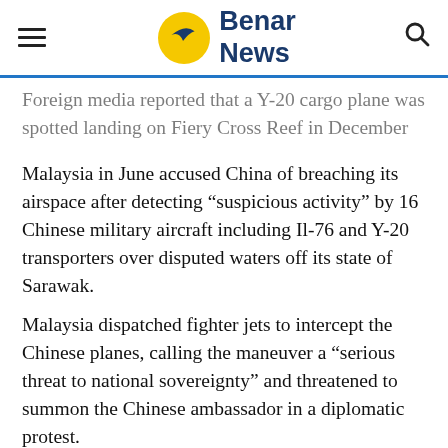Benar News
Foreign media reported that a Y-20 cargo plane was spotted landing on Fiery Cross Reef in December last year but it was not confirmed until now.
Malaysia in June accused China of breaching its airspace after detecting “suspicious activity” by 16 Chinese military aircraft including Il-76 and Y-20 transporters over disputed waters off its state of Sarawak.
Malaysia dispatched fighter jets to intercept the Chinese planes, calling the maneuver a “serious threat to national sovereignty” and threatened to summon the Chinese ambassador in a diplomatic protest.
China insisted that the Chinese air force “strictly abided by international law without entering the